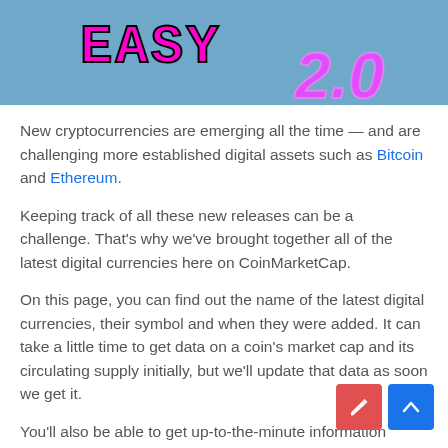[Figure (illustration): Banner image with blue background showing stylized pixel-art cryptocurrency logo text in pink/magenta colors and '2.0' text in glowing pink on the right side]
New cryptocurrencies are emerging all the time — and are challenging more established digital assets such as Bitcoin and Ethereum.
Keeping track of all these new releases can be a challenge. That's why we've brought together all of the latest digital currencies here on CoinMarketCap.
On this page, you can find out the name of the latest digital currencies, their symbol and when they were added. It can take a little time to get data on a coin's market cap and its circulating supply initially, but we'll update that data as soon we get it.
You'll also be able to get up-to-the-minute information about each cryptocurrency's current